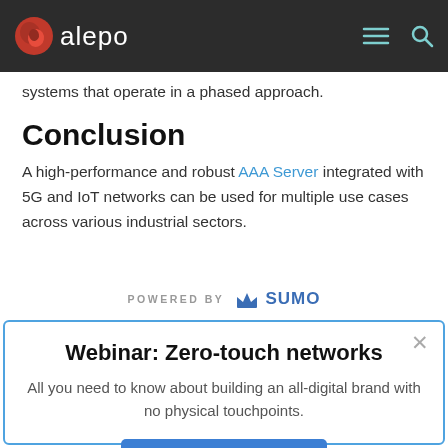alepo
systems that operate in a phased approach.
Conclusion
A high-performance and robust AAA Server integrated with 5G and IoT networks can be used for multiple use cases across various industrial sectors.
[Figure (logo): POWERED BY SUMO banner overlay]
Webinar: Zero-touch networks
All you need to know about building an all-digital brand with no physical touchpoints.
Watch the video